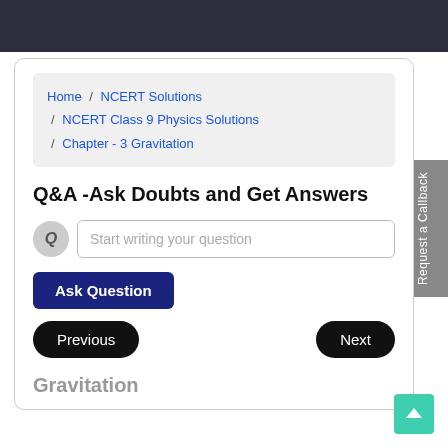Home / NCERT Solutions / NCERT Class 9 Physics Solutions / Chapter - 3 Gravitation
Q&A -Ask Doubts and Get Answers
Start writing your question
Ask Question
Previous
Next
Gravitation